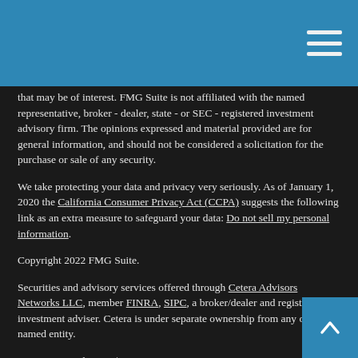that may be of interest. FMG Suite is not affiliated with the named representative, broker - dealer, state - or SEC - registered investment advisory firm. The opinions expressed and material provided are for general information, and should not be considered a solicitation for the purchase or sale of any security.
We take protecting your data and privacy very seriously. As of January 1, 2020 the California Consumer Privacy Act (CCPA) suggests the following link as an extra measure to safeguard your data: Do not sell my personal information.
Copyright 2022 FMG Suite.
Securities and advisory services offered through Cetera Advisors Networks LLC, member FINRA, SIPC, a broker/dealer and registered investment adviser. Cetera is under separate ownership from any other named entity.
Important Disclosures | Business Continuity